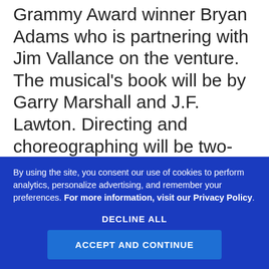Grammy Award winner Bryan Adams who is partnering with Jim Vallance on the venture. The musical's book will be by Garry Marshall and J.F. Lawton. Directing and choreographing will be two-time Tony-winner Jerry Mitchell. In the leads will be Samantha Barks (Oliver!-West End, Les Miserables –film) as Vivian, the streetwise hooker with a heart of gold immortalized on the screen by Julia Roberts. Steve Kazee (Once, Spamalot) will assume the role made-famous by Richard Gere, the
By using the site, you consent our use of cookies to perform analytics, personalize advertising, and remember your preferences. For more information, visit our Privacy Policy.
DECLINE ALL
ACCEPT AND CONTINUE
Posner & Philip S. Rosenberg, sound design by